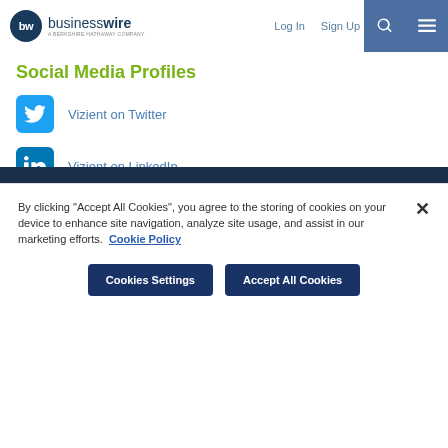businesswire — A BERKSHIRE HATHAWAY COMPANY | Log In | Sign Up
Social Media Profiles
Vizient on Twitter
Vizient on LinkedIn
› More News
By clicking "Accept All Cookies", you agree to the storing of cookies on your device to enhance site navigation, analyze site usage, and assist in our marketing efforts. Cookie Policy
Cookies Settings | Accept All Cookies